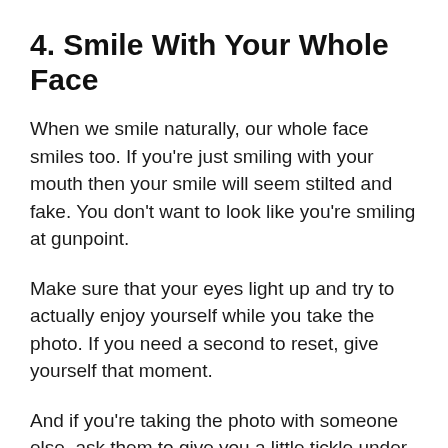4. Smile With Your Whole Face
When we smile naturally, our whole face smiles too. If you're just smiling with your mouth then your smile will seem stilted and fake. You don't want to look like you're smiling at gunpoint.
Make sure that your eyes light up and try to actually enjoy yourself while you take the photo. If you need a second to reset, give yourself that moment.
And if you're taking the photo with someone else, ask them to give you a little tickle under the arm to help get you smiling.
If you're embarrassed by your smile then consider